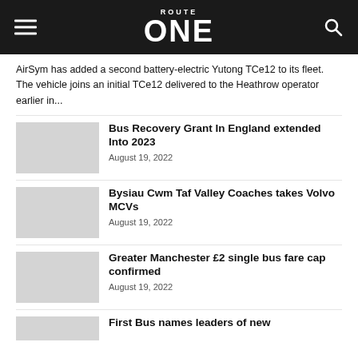ROUTE ONE
AirSym has added a second battery-electric Yutong TCe12 to its fleet. The vehicle joins an initial TCe12 delivered to the Heathrow operator earlier in...
Bus Recovery Grant In England extended Into 2023
August 19, 2022
Bysiau Cwm Taf Valley Coaches takes Volvo MCVs
August 19, 2022
Greater Manchester £2 single bus fare cap confirmed
August 19, 2022
First Bus names leaders of new